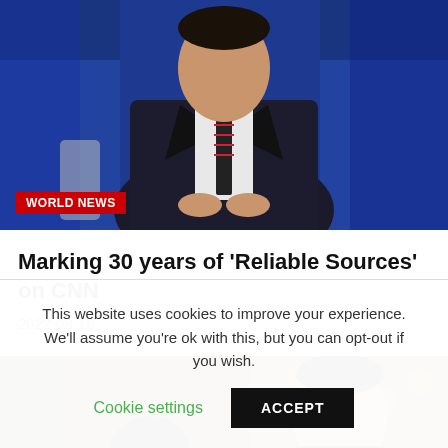[Figure (photo): Man in dark suit and striped tie seated against a blue backdrop, with a 'WORLD NEWS' red badge overlay at bottom left]
Marking 30 years of 'Reliable Sources' on CNN
2022-08-18
[Figure (photo): Two people seated in a warmly lit venue with candles in the background]
This website uses cookies to improve your experience. We'll assume you're ok with this, but you can opt-out if you wish.
Cookie settings   ACCEPT